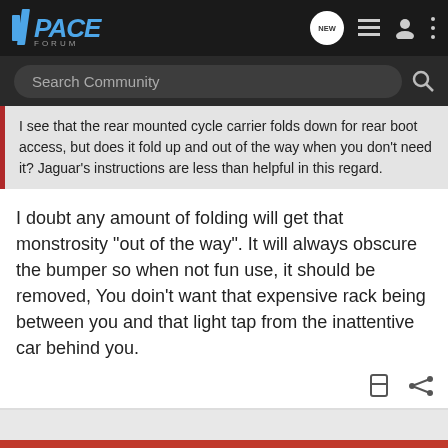[Figure (screenshot): I-PACE Forum website navigation bar with logo, NEW chat icon, list icon, user icon, and more options icon]
[Figure (screenshot): Search Community search bar with magnifying glass icon]
I see that the rear mounted cycle carrier folds down for rear boot access, but does it fold up and out of the way when you don't need it? Jaguar's instructions are less than helpful in this regard.
I doubt any amount of folding will get that monstrosity "out of the way". It will always obscure the bumper so when not fun use, it should be removed, You doin't want that expensive rack being between you and that light tap from the inattentive car behind you.
1 - 15 of 15 Posts